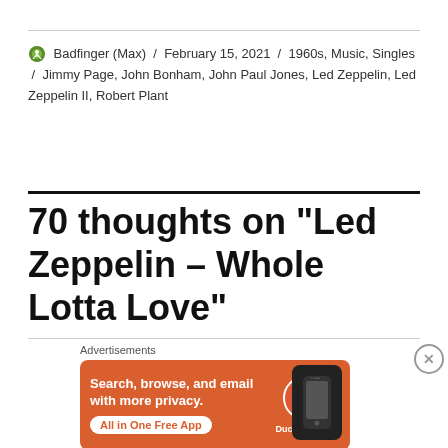Badfinger (Max) / February 15, 2021 / 1960s, Music, Singles / Jimmy Page, John Bonham, John Paul Jones, Led Zeppelin, Led Zeppelin II, Robert Plant
70 thoughts on “Led Zeppelin – Whole Lotta Love”
[Figure (other): DuckDuckGo advertisement banner: orange background with text 'Search, browse, and email with more privacy. All in One Free App' and DuckDuckGo logo with phone image]